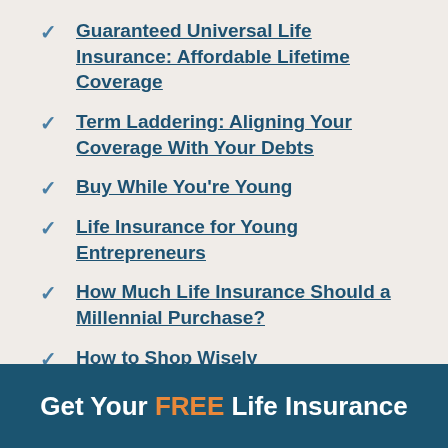Guaranteed Universal Life Insurance: Affordable Lifetime Coverage
Term Laddering: Aligning Your Coverage With Your Debts
Buy While You're Young
Life Insurance for Young Entrepreneurs
How Much Life Insurance Should a Millennial Purchase?
How to Shop Wisely
Get Your FREE Life Insurance